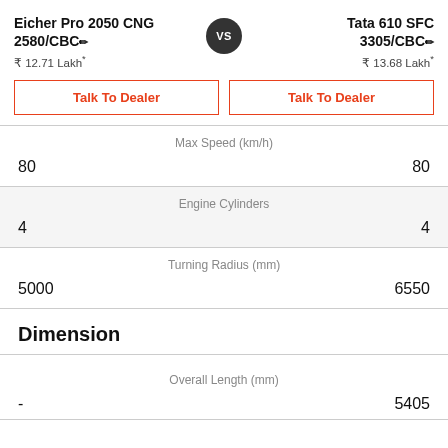Eicher Pro 2050 CNG 2580/CBC
Tata 610 SFC 3305/CBC
₹ 12.71 Lakh*
₹ 13.68 Lakh*
Talk To Dealer
Talk To Dealer
Max Speed (km/h)
80 | 80
Engine Cylinders
4 | 4
Turning Radius (mm)
5000 | 6550
Dimension
Overall Length (mm)
- | 5405